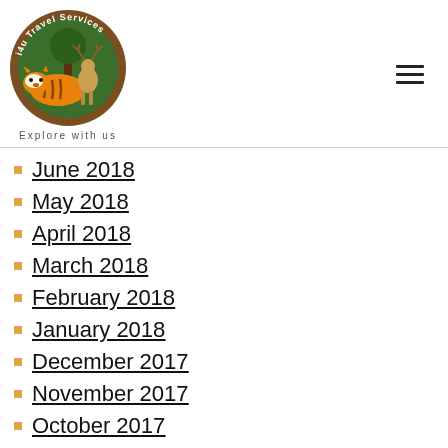[Figure (logo): i4u Travel Services logo with tiger and deer inside a circular green badge. Text reads 'i4u Travel Services' around the top and 'Explore with us' below.]
June 2018
May 2018
April 2018
March 2018
February 2018
January 2018
December 2017
November 2017
October 2017